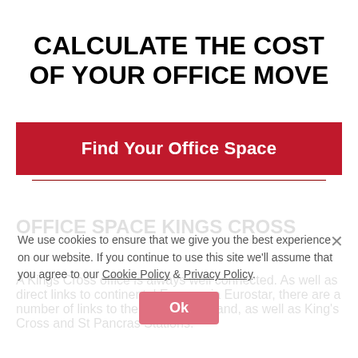CALCULATE THE COST OF YOUR OFFICE MOVE
[Figure (other): Red button labeled 'Find Your Office Space']
OFFICE SPACE KINGS CROSS
A Kings Cross office is always well connected. As well as direct links to continental Europe via Eurostar, there are a number of links to the North of England, as well as King's Cross and St Pancras Stations.
We use cookies to ensure that we give you the best experience on our website. If you continue to use this site we'll assume that you agree to our Cookie Policy & Privacy Policy. Ok